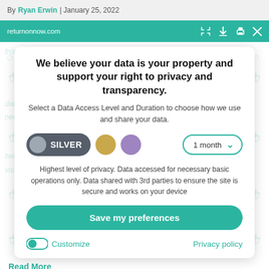By Ryan Erwin | January 25, 2022
[Figure (screenshot): Browser toolbar showing returnonnow.com URL with expand, download, print and close icons on teal background]
We believe your data is your property and support your right to privacy and transparency.
Select a Data Access Level and Duration to choose how we use and share your data.
[Figure (infographic): Privacy level selector showing Silver pill button selected, gold circle, purple circle, and 1 month dropdown]
Highest level of privacy. Data accessed for necessary basic operations only. Data shared with 3rd parties to ensure the site is secure and works on your device
Save my preferences
Customize   Privacy policy
Read More